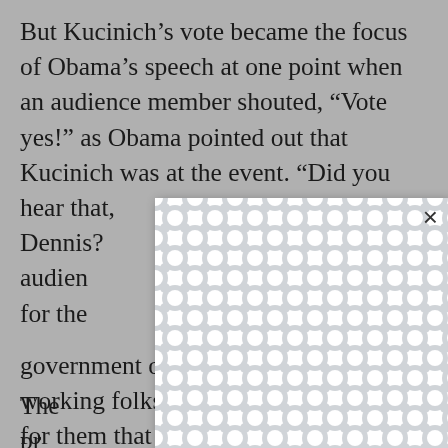But Kucinich's vote became the focus of Obama's speech at one point when an audience member shouted, "Vote yes!" as Obama pointed out that Kucinich was at the event. "Did you hear that, Dennis? [...]" to the audience [...] vote for the [...]
The pr[esident spoke] again later w[hen he urged the] e lawma[ker ...] at? It's bee[n ...] government on the side of ordinary working folks, where we did something for them that relieves some of their struggles ... that just gave them a little bit of a better chance to live out their
[Figure (other): A white modal/popup overlay with a decorative repeating pattern of interlocking rounded shapes in light gray on white background. Has a close button (X) in the top right corner.]